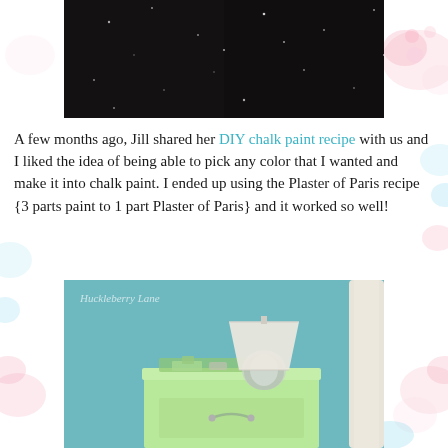[Figure (photo): Close-up photo of dark/black glittery or sparkly surface texture]
A few months ago, Jill shared her DIY chalk paint recipe with us and I liked the idea of being able to pick any color that I wanted and make it into chalk paint. I ended up using the Plaster of Paris recipe {3 parts paint to 1 part Plaster of Paris} and it worked so well!
[Figure (photo): Photo of a light green chalk-painted nightstand with a lamp on top, set against a teal/blue wall. Watermark reads 'Huckleberry Lane'.]